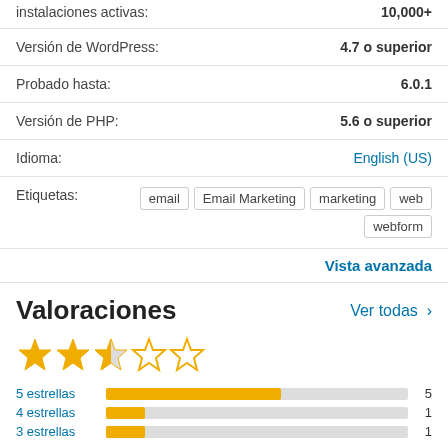| Instalaciones activas: | 10,000+ |
| Versión de WordPress: | 4.7 o superior |
| Probado hasta: | 6.0.1 |
| Versión de PHP: | 5.6 o superior |
| Idioma: | English (US) |
| Etiquetas: | email Email Marketing marketing web webform |
Vista avanzada
Valoraciones
Ver todas >
[Figure (other): 2.5 out of 5 stars rating display with filled, half, and empty stars]
[Figure (bar-chart): Rating distribution]